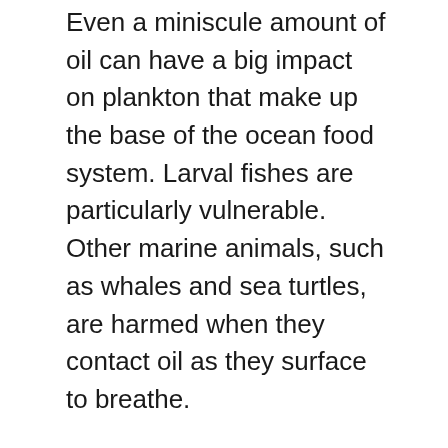Even a miniscule amount of oil can have a big impact on plankton that make up the base of the ocean food system. Larval fishes are particularly vulnerable. Other marine animals, such as whales and sea turtles, are harmed when they contact oil as they surface to breathe.
Researchers found most oil slicks occurred near the coast. About half were within 25 miles of the coast, and 90 per cent were within 100 miles. The researchers found relatively fewer slicks near oil platforms in the Gulf of Mexico compared to elsewhere on the globe, suggesting that regulation, enforcement